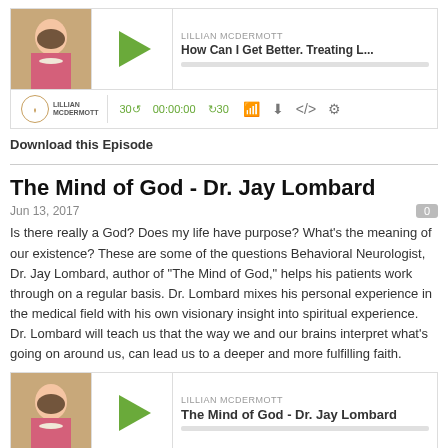[Figure (screenshot): Podcast player widget for Lillian McDermott show, episode 'How Can I Get Better. Treating L...' with green play button, progress bar, and playback controls showing 00:00:00]
Download this Episode
The Mind of God - Dr. Jay Lombard
Jun 13, 2017
Is there really a God? Does my life have purpose? What's the meaning of our existence? These are some of the questions Behavioral Neurologist, Dr. Jay Lombard, author of "The Mind of God," helps his patients work through on a regular basis. Dr. Lombard mixes his personal experience in the medical field with his own visionary insight into spiritual experience. Dr. Lombard will teach us that the way we and our brains interpret what's going on around us, can lead us to a deeper and more fulfilling faith.
[Figure (screenshot): Podcast player widget for Lillian McDermott show, episode 'The Mind of God - Dr. Jay Lombard' with green play button and progress bar, partially visible at bottom]